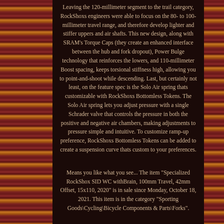Leaving the 120-millimeter segment to the trail category, RockShoxs engineers were able to focus on the 80- to 100-millimeter travel range, and therefore develop lighter and stiffer uppers and air shafts. This new design, along with SRAM's Torque Caps (they create an enhanced interface between the hub and fork dropout), Power Bulge technology that reinforces the lowers, and 110-millimeter Boost spacing, keeps torsional stiffness high, allowing you to point-and-shoot while descending. Last, but certainly not least, on the feature spec is the Solo Air spring thats customizable with RockShoxs Bottomless Tokens. The Solo Air spring lets you adjust pressure with a single Schrader valve that controls the pressure in both the positive and negative air chambers, making adjustments to pressure simple and intuitive. To customize ramp-up preference, RockShoxs Bottomless Tokens can be added to create a suspension curve thats custom to your preferences.
Means you like what you see... The item "Specialized RockShox SID WC withBrain, 100mm Travel, 42mm Offset, 15x110, 2020" is in sale since Monday, October 18, 2021. This item is in the category "Sporting Goods\Cycling\Bicycle Components & Parts\Forks".